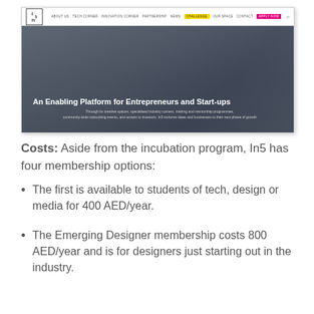[Figure (screenshot): Screenshot of the In5 website showing navigation bar with logo, menu items including a yellow 'CHALLENGE' button and pink 'APPLY NOW' button, and a hero image of a building with the text 'An Enabling Platform for Entrepreneurs and Start-ups' and subtitle text about creative spaces, specialised industry centers, training and mentorship programmes.]
Costs: Aside from the incubation program, In5 has four membership options:
The first is available to students of tech, design or media for 400 AED/year.
The Emerging Designer membership costs 800 AED/year and is for designers just starting out in the industry.